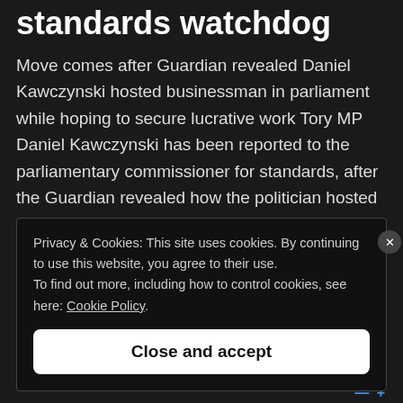standards watchdog
Move comes after Guardian revealed Daniel Kawczynski hosted businessman in parliament while hoping to secure lucrative work Tory MP Daniel Kawczynski has been reported to the parliamentary commissioner for standards, after the Guardian revealed how the politician hosted a Saudi Arabian businessman in parliament while hoping to secure a lucrative second job. Thangam
Privacy & Cookies: This site uses cookies. By continuing to use this website, you agree to their use.
To find out more, including how to control cookies, see here: Cookie Policy
Close and accept